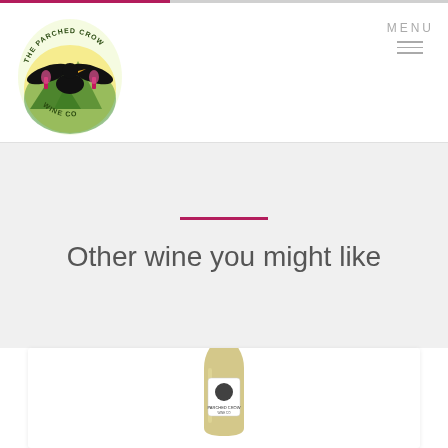The Parched Crow Wine Co — MENU
[Figure (logo): The Parched Crow Wine Co logo: a crow with wings spread holding wine glasses, with mountains and sun in the background, circular badge design]
Other wine you might like
[Figure (photo): A white wine bottle from The Parched Crow Wine Co with a brown capsule top and label showing the crow logo]